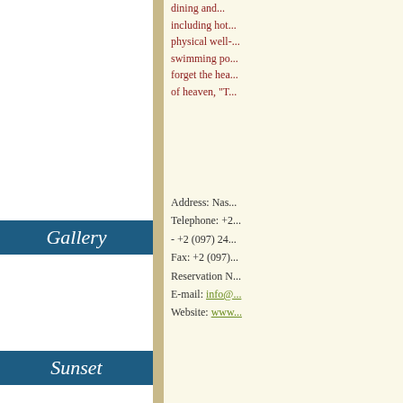...dining and... including hot... physical well-... swimming po... forget the hea... of heaven, "T...
Address: Nas...
Telephone: +...
- +2 (097) 24...
Fax: +2 (097)...
Reservation N...
E-mail: info@...
Website: www...
Gallery
Sunset